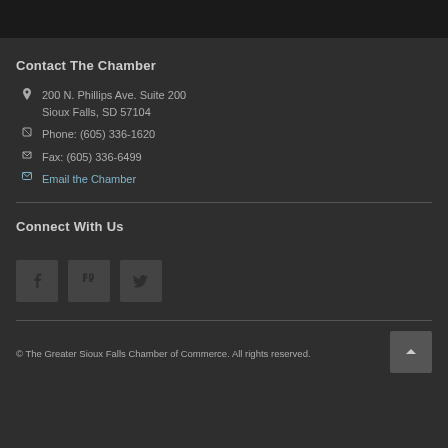Contact The Chamber
200 N. Phillips Ave. Suite 200
Sioux Falls, SD 57104
Phone: (605) 336-1620
Fax: (605) 336-6499
Email the Chamber
Connect With Us
[Figure (other): Social media icon buttons: Facebook, LinkedIn, Twitter]
© The Greater Sioux Falls Chamber of Commerce. All rights reserved.